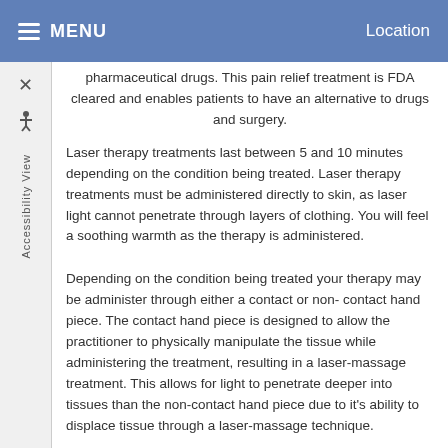MENU   Location
pharmaceutical drugs. This pain relief treatment is FDA cleared and enables patients to have an alternative to drugs and surgery.
Laser therapy treatments last between 5 and 10 minutes depending on the condition being treated. Laser therapy treatments must be administered directly to skin, as laser light cannot penetrate through layers of clothing. You will feel a soothing warmth as the therapy is administered.
Depending on the condition being treated your therapy may be administer through either a contact or non-contact hand piece. The contact hand piece is designed to allow the practitioner to physically manipulate the tissue while administering the treatment, resulting in a laser-massage treatment. This allows for light to penetrate deeper into tissues than the non-contact hand piece due to it's ability to displace tissue through a laser-massage technique.